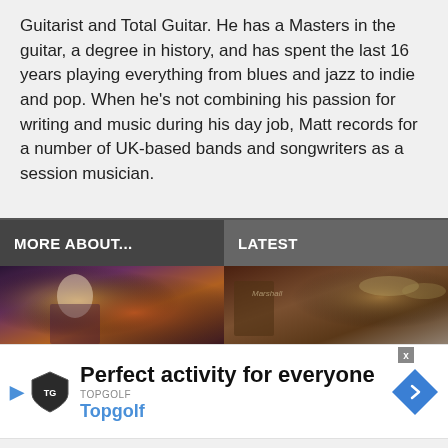Guitarist and Total Guitar. He has a Masters in the guitar, a degree in history, and has spent the last 16 years playing everything from blues and jazz to indie and pop. When he's not combining his passion for writing and music during his day job, Matt records for a number of UK-based bands and songwriters as a session musician.
MORE ABOUT...
LATEST
[Figure (photo): Concert photo showing a performer on stage with warm stage lighting, orange and purple tones]
[Figure (photo): Photo of musicians with guitar amplifiers and drum cymbals visible, warm brown tones]
Perfect activity for everyone
Topgolf